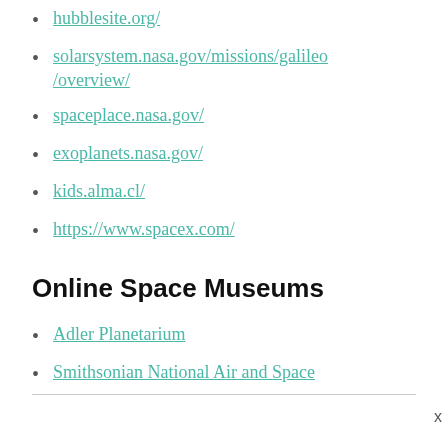hubblesite.org/
solarsystem.nasa.gov/missions/galileo/overview/
spaceplace.nasa.gov/
exoplanets.nasa.gov/
kids.alma.cl/
https://www.spacex.com/
Online Space Museums
Adler Planetarium
Smithsonian National Air and Space